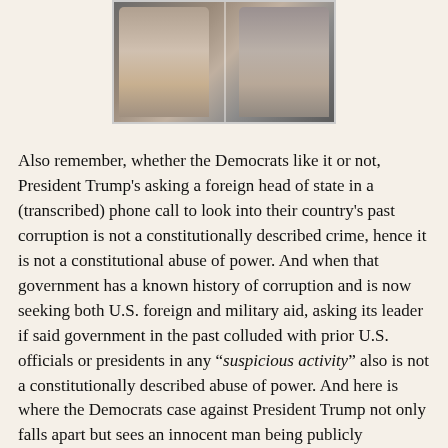[Figure (photo): Two men facing each other in a split image, appearing to be political figures]
Also remember, whether the Democrats like it or not, President Trump's asking a foreign head of state in a (transcribed) phone call to look into their country's past corruption is not a constitutionally described crime, hence it is not a constitutional abuse of power. And when that government has a known history of corruption and is now seeking both U.S. foreign and military aid, asking its leader if said government in the past colluded with prior U.S. officials or presidents in any “suspicious activity” also is not a constitutionally described abuse of power. And here is where the Democrats case against President Trump not only falls apart but sees an innocent man being publicly railroaded solely for partisan political gain. And it's being done so while a prior U.S. vice-president did indeed collude with a foreign government and should be the one on trial for abuse of power.
In fact, past presidents from both political parties have abused power to one degree or another with no threat of impeachment being hung over their heads as it is with President Trump. Here are